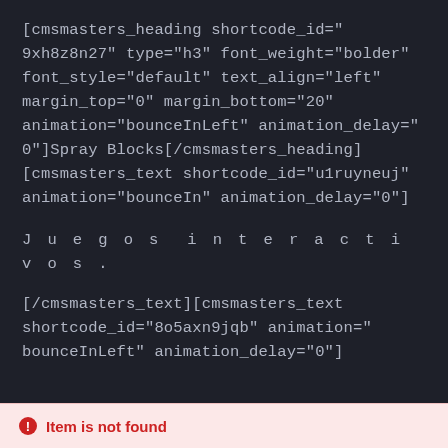[cmsmasters_heading shortcode_id="9xh8z8n27" type="h3" font_weight="bolder" font_style="default" text_align="left" margin_top="0" margin_bottom="20" animation="bounceInLeft" animation_delay="0"]Spray Blocks[/cmsmasters_heading] [cmsmasters_text shortcode_id="u1ruyneuj" animation="bounceIn" animation_delay="0"]
Juegos interactivos.
[/cmsmasters_text][cmsmasters_text shortcode_id="8o5axn9jqb" animation="bounceInLeft" animation_delay="0"]
Item is not found